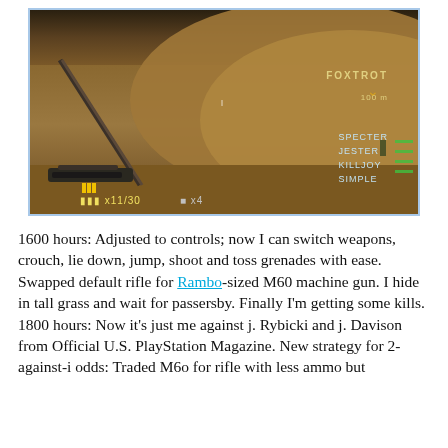[Figure (screenshot): Video game screenshot showing a first-person shooter scene with sandy terrain, a diagonal rifle barrel visible, HUD elements showing ammo (x11/30) and grenades (x4), player names on right side (FOXTROT at top with yellow chevron, SPECTER, JESTER, KILLJOY, SIMPLE), game UI overlay on dark desert environment.]
1600 hours: Adjusted to controls; now I can switch weapons, crouch, lie down, jump, shoot and toss grenades with ease. Swapped default rifle for Rambo-sized M60 machine gun. I hide in tall grass and wait for passersby. Finally I'm getting some kills. 1800 hours: Now it's just me against j. Rybicki and j. Davison from Official U.S. PlayStation Magazine. New strategy for 2-against-i odds: Traded M6o for rifle with less ammo but